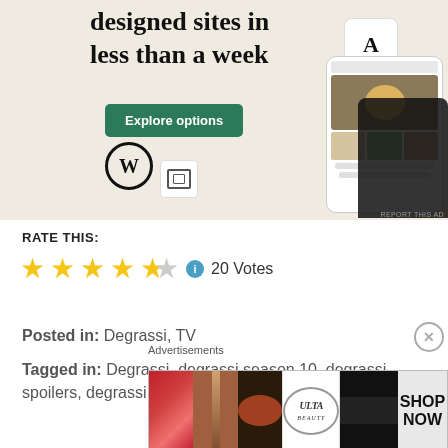[Figure (screenshot): WordPress advertisement showing 'designed sites in less than a week' with Explore options button, WordPress logo, and phone mockup showing website templates]
RATE THIS:
[Figure (infographic): 4.5 star rating with info icon and 20 Votes text]
Posted in: Degrassi, TV
Tagged in: Degrassi, degrassi season 10, degrassi spoilers, degrassi the boiling point, degrassi the next
Advertisements
[Figure (photo): Ulta beauty advertisement banner showing makeup products and models with SHOP NOW call to action]